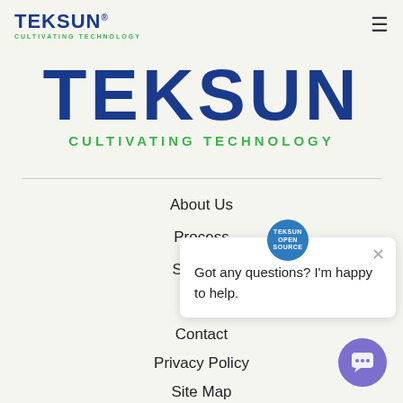TEKSUN® CULTIVATING TECHNOLOGY
[Figure (logo): TEKSUN logo with large dark blue TEKSUN text and green CULTIVATING TECHNOLOGY tagline]
About Us
Process
Services
[Figure (screenshot): Chat popup widget with TEKSUN chat icon and text: Got any questions? I'm happy to help. With a close X button.]
Contact
Privacy Policy
Site Map
[Figure (illustration): Purple chat bubble button in bottom right corner]